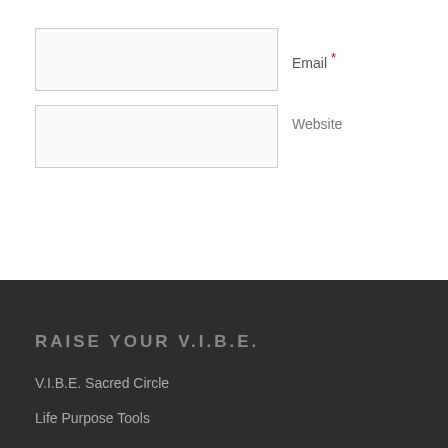Email *
Website
Post Comment
RAISE YOUR V.I.B.E.
V.I.B.E. Sacred Circle
Life Purpose Tools